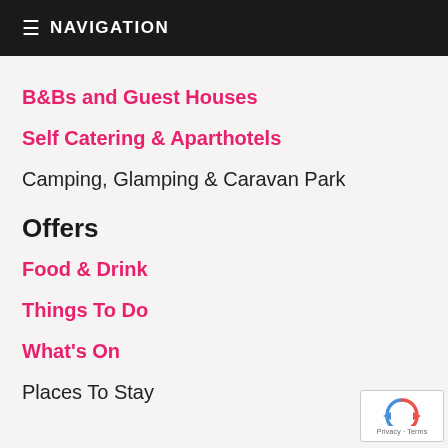≡ NAVIGATION
B&Bs and Guest Houses
Self Catering & Aparthotels
Camping, Glamping & Caravan Park
Offers
Food & Drink
Things To Do
What's On
Places To Stay
[Figure (other): reCAPTCHA badge with Privacy and Terms text]